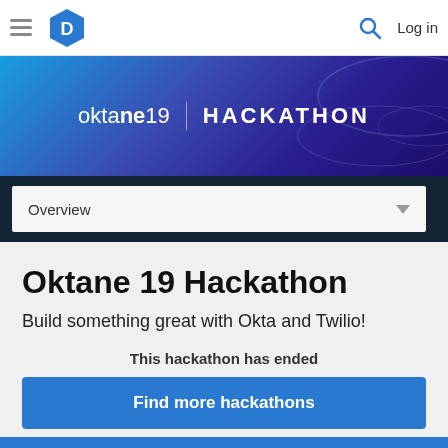[Figure (screenshot): Navigation bar with hamburger menu, D hexagon logo, search icon, and Log in link]
[Figure (screenshot): Banner image with gradient background showing 'oktane19 | HACKATHON' text]
Overview
Oktane 19 Hackathon
Build something great with Okta and Twilio!
This hackathon has ended
Find more hackathons